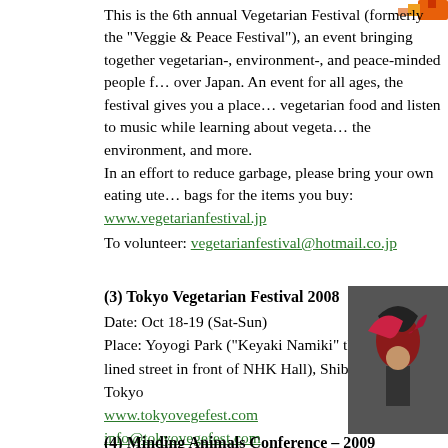This is the 6th annual Vegetarian Festival (formerly the "Veggie & Peace Festival"), an event bringing together vegetarian-, environment-, and peace-minded people from all over Japan. An event for all ages, the festival gives you a place to enjoy vegetarian food and listen to music while learning about vegetarianism, the environment, and more.
In an effort to reduce garbage, please bring your own eating utensils and bags for the items you buy: www.vegetarianfestival.jp
To volunteer: vegetarianfestival@hotmail.co.jp
(3) Tokyo Vegetarian Festival 2008
Date: Oct 18-19 (Sat-Sun)
Place: Yoyogi Park ("Keyaki Namiki" the tree lined street in front of NHK Hall), Shibuya, Tokyo
www.tokyovegefest.com
info@tokyovegefest.com
[Figure (photo): Photo of a person with red/black feathered costume at Tokyo Vegetarian Festival]
(4) Minding Animals Conference – 2009
Date: Jul 13-18, 2009
Place: Civic Precinct, Newcastle, Australia
www.mindinganimals.com
A transdisciplinary conference exploring the
[Figure (photo): Photo of green leaves and plants]